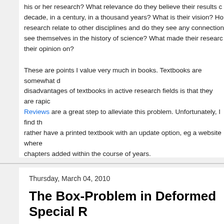his or her research? What relevance do they believe their results c... decade, in a century, in a thousand years? What is their vision? Ho... research relate to other disciplines and do they see any connection... see themselves in the history of science? What made their researc... their opinion on?
These are points I value very much in books. Textbooks are somewhat d... disadvantages of textbooks in active research fields is that they are rapic... Reviews are a great step to alleviate this problem. Unfortunately, I find th... rather have a printed textbook with an update option, eg a website where... chapters added within the course of years.
Posted by Sabine Hossenfelder at 9:39 AM   12 comments:    Labels:
Thoughts
Thursday, March 04, 2010
The Box-Problem in Deformed Special R
As you know, I'm presently visiting Perimeter Institute. I was asked to spe... Gravity group meeting about one of my recent papers: